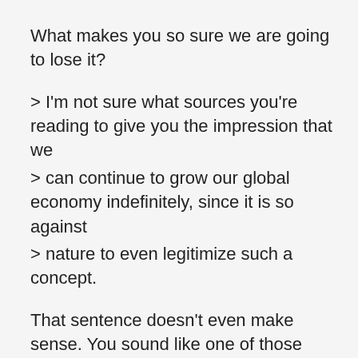What makes you so sure we are going to lose it?
> I'm not sure what sources you're reading to give you the impression that we
> can continue to grow our global economy indefinitely, since it is so against
> nature to even legitimize such a concept.
That sentence doesn't even make sense. You sound like one of those eco-zombies. Certain leaders use drugs and hypnosis to make people believe